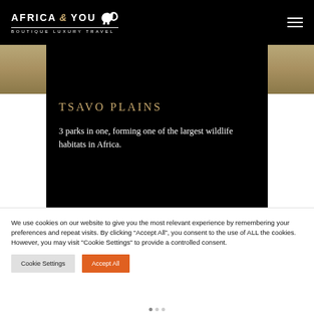AFRICA & YOU BOUTIQUE LUXURY TRAVEL
TSAVO PLAINS
3 parks in one, forming one of the largest wildlife habitats in Africa.
We use cookies on our website to give you the most relevant experience by remembering your preferences and repeat visits. By clicking “Accept All”, you consent to the use of ALL the cookies. However, you may visit "Cookie Settings" to provide a controlled consent.